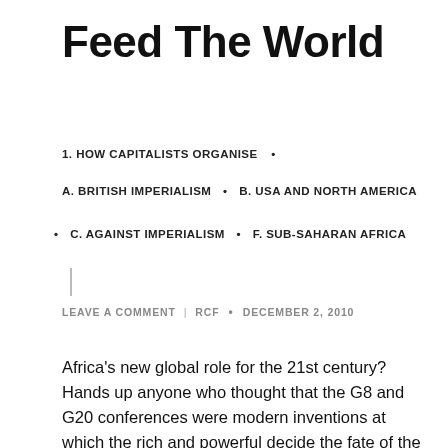Feed The World
1. HOW CAPITALISTS ORGANISE  •
A. BRITISH IMPERIALISM  •  B. USA AND NORTH AMERICA
•  C. AGAINST IMPERIALISM  •  F. SUB-SAHARAN AFRICA
LEAVE A COMMENT  |  RCF  •  DECEMBER 2, 2010
Africa's new global role for the 21st century? Hands up anyone who thought that the G8 and G20 conferences were modern inventions at which the rich and powerful decide the fate of the world. It could be contended that they had a precursor one hundred and twenty-five years